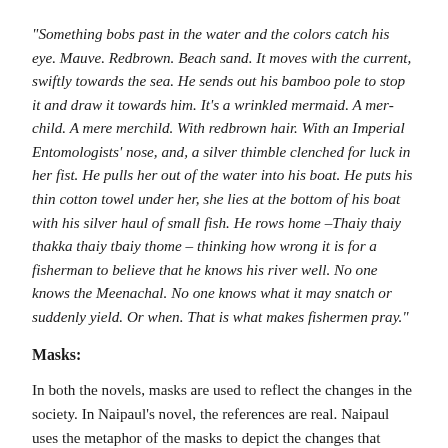“Something bobs past in the water and the colors catch his eye. Mauve. Redbrown. Beach sand. It moves with the current, swiftly towards the sea. He sends out his bamboo pole to stop it and draw it towards him. It’s a wrinkled mermaid. A mer-child. A mere merchild. With redbrown hair. With an Imperial Entomologists’ nose, and, a silver thimble clenched for luck in her fist. He pulls her out of the water into his boat. He puts his thin cotton towel under her, she lies at the bottom of his boat with his silver haul of small fish. He rows home –Thaiy thaiy thakka thaiy tbaiy thome – thinking how wrong it is for a fisherman to believe that he knows his river well. No one knows the Meenachal. No one knows what it may snatch or suddenly yield. Or when. That is what makes fishermen pray.”
Masks:
In both the novels, masks are used to reflect the changes in the society. In Naipaul’s novel, the references are real. Naipaul uses the metaphor of the masks to depict the changes that gradually occur in the country. The subtlety with which Naipaul describes the changing ownership of masks – from European to African – indicates the true conflicts of the transition from colonialism to